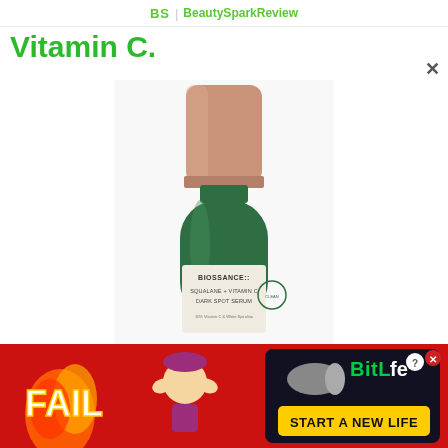BS | BeautySparkReview
Vitamin C.
[Figure (photo): Biossance Squalane + Vitamin C Dark Spot Serum bottle with rose gold cap and green glass bottle body, white label reading BIOSSANCE, SQUALANE + VITAMIN C DARK SPOT SERUM]
[Figure (photo): BitLife advertisement banner with FAIL text, cartoon character, flames, and START A NEW LIFE text on red background]